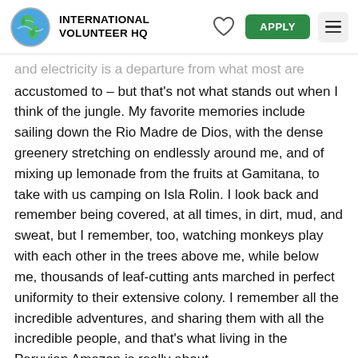INTERNATIONAL VOLUNTEER HQ
and electricity is a departure from what most are accustomed to – but that's not what stands out when I think of the jungle. My favorite memories include sailing down the Rio Madre de Dios, with the dense greenery stretching on endlessly around me, and of mixing up lemonade from the fruits at Gamitana, to take with us camping on Isla Rolin. I look back and remember being covered, at all times, in dirt, mud, and sweat, but I remember, too, watching monkeys play with each other in the trees above me, while below me, thousands of leaf-cutting ants marched in perfect uniformity to their extensive colony. I remember all the incredible adventures, and sharing them with all the incredible people, and that's what living in the Peruvian Amazon is really about.
Want to learn more about the Jungle Conservation project? Check out the Cusco, Peru page!